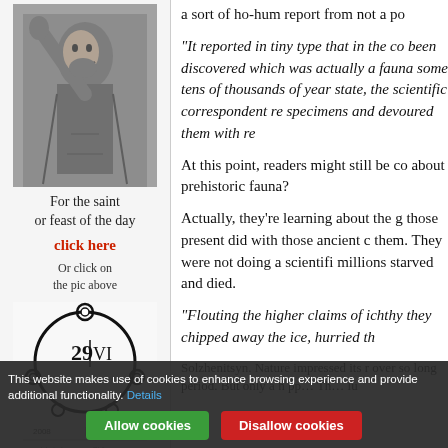[Figure (photo): Black and white photo of a bearded male saint figure]
For the saint or feast of the day
click here
Or click on the pic above
[Figure (illustration): Calendar illustration showing 29 VI with chain/medallion design and years 2008-2009]
a sort of ho-hum report from not a po
“It reported in tiny type that in the co been discovered which was actually a fauna some tens of thousands of year state, the scientific correspondent re specimens and devoured them with re
At this point, readers might still be co about prehistoric fauna?
Actually, they’re learning about the g those present did with those ancient c them. They were not doing a scientifi millions starved and died.
“Flouting the higher claims of ichthy they chipped away the ice, hurried th
Solzhenitsyn. Nature impressed its r over so long period. But only a h pp… Th… lu
This website makes use of cookies to enhance browsing experience and provide additional functionality. Details
Allow cookies
Disallow cookies